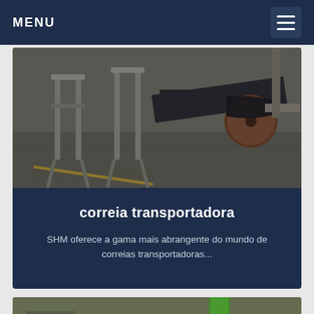MENU
[Figure (photo): Industrial conveyor belt machinery in a factory floor, showing metal frame structures and a black rubber belt with rollers]
correia transportadora
SHM oferece a gama mais abrangente do mundo de correias transportadoras...
[Figure (photo): Aerial view of an industrial facility with workers, metal beams, and conveyor belt infrastructure with green belt visible]